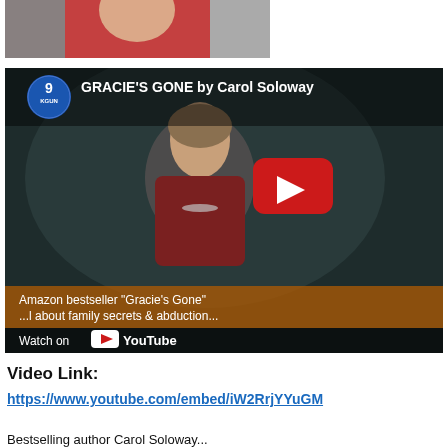[Figure (photo): Partial view of a woman in red clothing, cropped at top of page]
[Figure (screenshot): YouTube video thumbnail showing KGUN9 logo and title 'GRACIE'S GONE by Carol Soloway', with a woman in a dark studio setting, YouTube play button overlay, orange banner text 'Amazon bestseller Gracie's Gone ... about family secrets & abduction', and 'Watch on YouTube' bar at bottom]
Video Link:
https://www.youtube.com/embed/iW2RrjYYuGM
Bestselling author Carol Soloway...